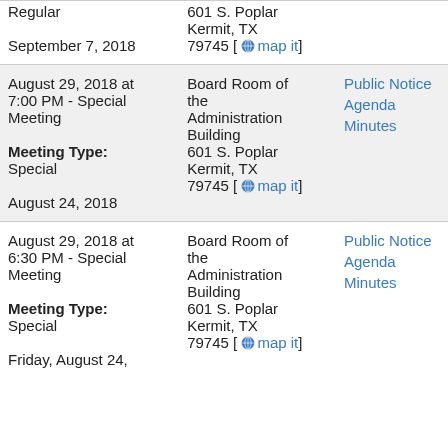| Meeting Date/Type | Location | Documents |
| --- | --- | --- |
| Regular
September 7, 2018 [Meeting Type: Regular] | 601 S. Poplar
Kermit, TX 79745 |  |
| August 29, 2018 at 7:00 PM - Special Meeting
Meeting Type: Special
August 24, 2018 | Board Room of the Administration Building
601 S. Poplar
Kermit, TX 79745 | Public Notice
Agenda
Minutes |
| August 29, 2018 at 6:30 PM - Special Meeting
Meeting Type: Special
Friday, August 24, | Board Room of the Administration Building
601 S. Poplar
Kermit, TX 79745 | Public Notice
Agenda
Minutes |